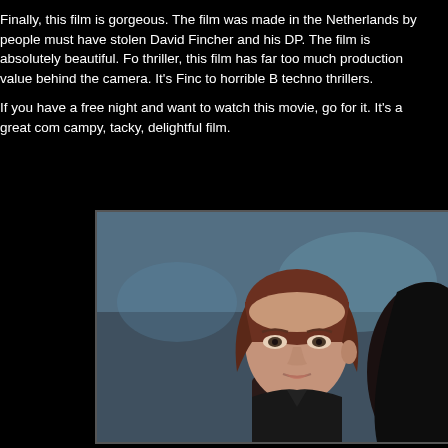Finally, this film is gorgeous. The film was made in the Netherlands by people must have stolen David Fincher and his DP. The film is absolutely beautiful. Fo thriller, this film has far too much production value behind the camera. It's Finc to horrible B techno thrillers.

If you have a free night and want to watch this movie, go for it. It's a great com campy, tacky, delightful film.
[Figure (photo): Close-up photo of a young woman with auburn hair pulled back, wearing a dark uniform, looking at another person whose dark hair is visible in the foreground right. Background appears to be an indoor setting with blurred blue-grey tones.]